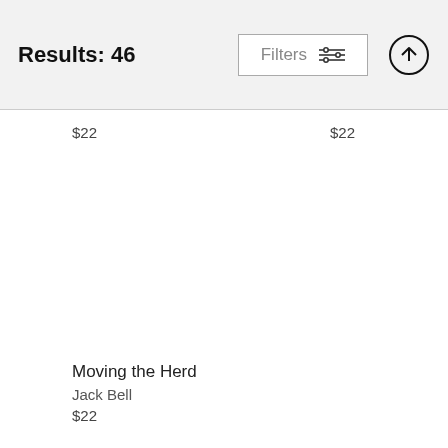Results: 46
Filters
$22
$22
Moving the Herd
Jack Bell
$22